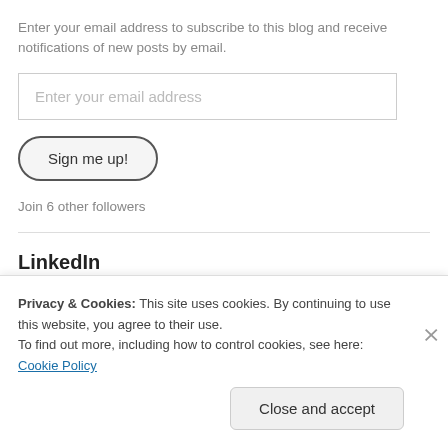Enter your email address to subscribe to this blog and receive notifications of new posts by email.
Enter your email address
Sign me up!
Join 6 other followers
LinkedIn
[Figure (screenshot): LinkedIn profile badge showing 'View my profile on Linked in' with the LinkedIn logo]
Privacy & Cookies: This site uses cookies. By continuing to use this website, you agree to their use.
To find out more, including how to control cookies, see here: Cookie Policy
Close and accept